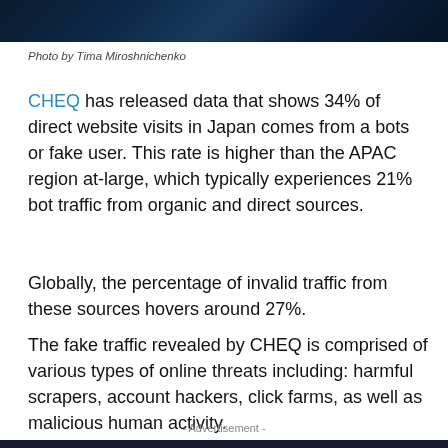[Figure (photo): Dark blue-green technology/cybersecurity themed image showing screens or code, used as article header image]
Photo by Tima Miroshnichenko
CHEQ has released data that shows 34% of direct website visits in Japan comes from a bots or fake user. This rate is higher than the APAC region at-large, which typically experiences 21% bot traffic from organic and direct sources.
Globally, the percentage of invalid traffic from these sources hovers around 27%.
The fake traffic revealed by CHEQ is comprised of various types of online threats including: harmful scrapers, account hackers, click farms, as well as malicious human activity.
- Advertisement -